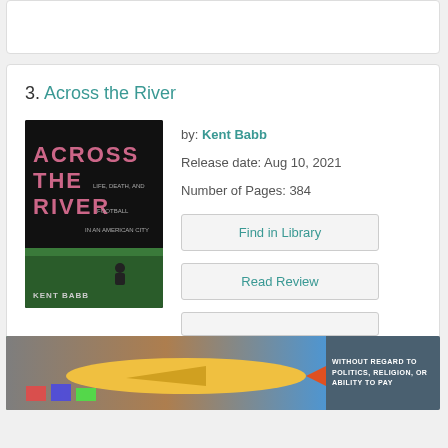3. Across the River
by: Kent Babb
Release date: Aug 10, 2021
Number of Pages: 384
Find in Library
Read Review
[Figure (photo): Book cover of 'Across the River' by Kent Babb, black background with large text and a football field image]
[Figure (photo): Advertisement banner showing airplane being loaded with cargo, text: WITHOUT REGARD TO POLITICS, RELIGION, OR ABILITY TO PAY]